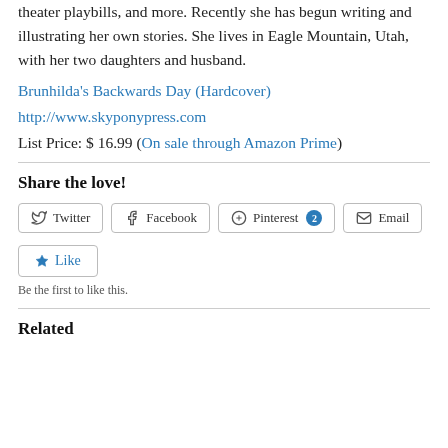theater playbills, and more. Recently she has begun writing and illustrating her own stories. She lives in Eagle Mountain, Utah, with her two daughters and husband.
Brunhilda's Backwards Day (Hardcover)
http://www.skyponypress.com
List Price: $ 16.99 (On sale through Amazon Prime)
Share the love!
[Figure (other): Social share buttons: Twitter, Facebook, Pinterest 2, Email]
[Figure (other): Like button with star icon and text 'Be the first to like this.']
Related